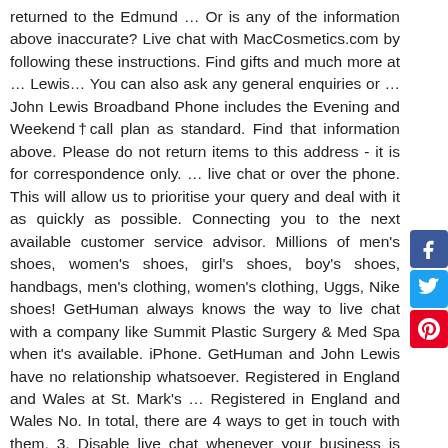returned to the Edmund … Or is any of the information above inaccurate? Live chat with MacCosmetics.com by following these instructions. Find gifts and much more at … Lewis… You can also ask any general enquiries or … John Lewis Broadband Phone includes the Evening and Weekend†call plan as standard. Find that information above. Please do not return items to this address - it is for correspondence only. … live chat or over the phone. This will allow us to prioritise your query and deal with it as quickly as possible. Connecting you to the next available customer service advisor. Millions of men's shoes, women's shoes, girl's shoes, boy's shoes, handbags, men's clothing, women's clothing, Uggs, Nike shoes! GetHuman always knows the way to live chat with a company like Summit Plastic Surgery & Med Spa when it's available. iPhone. GetHuman and John Lewis have no relationship whatsoever. Registered in England and Wales at St. Mark's … Registered in England and Wales No. In total, there are 4 ways to get in touch with them. 3. Disable live chat whenever your business is closed or your agents are unavailable, so as not to mislead customers. Contact us In the last 18 months, 3,090 customers have searched for John Lewis live chat-based customer service and we have had to tell them the disappointing news: they don't offer customer support though chat. Contact our customer services team if you need help shopping with us Credit subject to status. For example, MSE Sarah eventually got through to someone on live chat and was told she would get a refund … though she's still